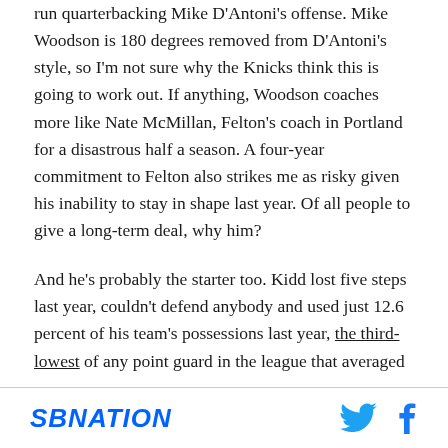run quarterbacking Mike D'Antoni's offense. Mike Woodson is 180 degrees removed from D'Antoni's style, so I'm not sure why the Knicks think this is going to work out. If anything, Woodson coaches more like Nate McMillan, Felton's coach in Portland for a disastrous half a season. A four-year commitment to Felton also strikes me as risky given his inability to stay in shape last year. Of all people to give a long-term deal, why him?
And he's probably the starter too. Kidd lost five steps last year, couldn't defend anybody and used just 12.6 percent of his team's possessions last year, the third-lowest of any point guard in the league that averaged
SBNATION